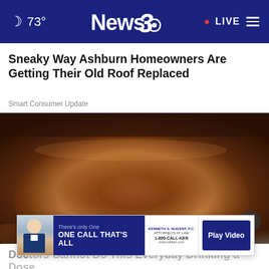🌙 73° | News3 | • LIVE ≡
Sneaky Way Ashburn Homeowners Are Getting Their Old Roof Replaced
Smart Consumer Update
[Figure (photo): Close-up macro photo of a mound of finely ground brown powder (resembling cinnamon or ground spice) on a wooden surface, with a blurred stone/wood background.]
[Figure (screenshot): Advertisement banner: Photo of a man in a suit on the left, dark blue background with text 'There's only One ONE CALL THAT'S ALL', logo section with N and Kenneth S. Nugent branding, phone number 1-800-CALL-KEN, and blue 'Play Video' button.]
Doctors Cannot Do This Everyday Drinking a Dose ...